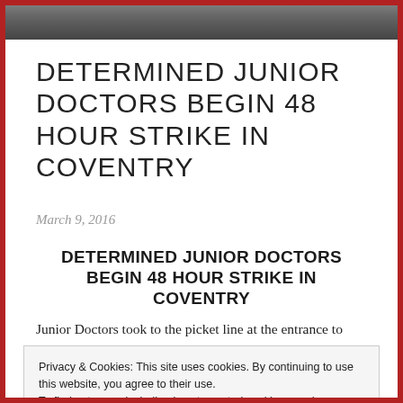[Figure (photo): A photo strip at the top of the page showing people, partially visible]
DETERMINED JUNIOR DOCTORS BEGIN 48 HOUR STRIKE IN COVENTRY
March 9, 2016
DETERMINED JUNIOR DOCTORS BEGIN 48 HOUR STRIKE IN COVENTRY
Junior Doctors took to the picket line at the entrance to
Privacy & Cookies: This site uses cookies. By continuing to use this website, you agree to their use.
To find out more, including how to control cookies, see here: Cookie Policy
response to Health Minister Jeremy Hunt's declaration